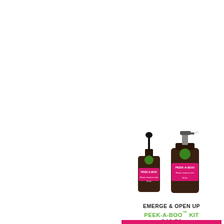[Figure (illustration): Yellow banner with bokeh circles and white bold text reading FEATURED PRODUCTS]
[Figure (photo): Two amber glass bottles with dropper and spray pump, labeled PEEK-A-BOO, one 15mL and one 50mL]
EMERGE & OPEN UP
PEEK-A-BOO™ KIT
$42.50